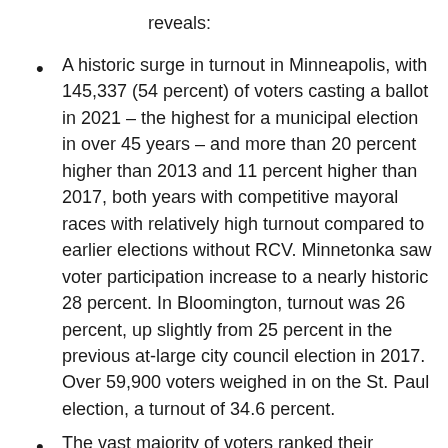reveals:
A historic surge in turnout in Minneapolis, with 145,337 (54 percent) of voters casting a ballot in 2021 – the highest for a municipal election in over 45 years – and more than 20 percent higher than 2013 and 11 percent higher than 2017, both years with competitive mayoral races with relatively high turnout compared to earlier elections without RCV. Minnetonka saw voter participation increase to a nearly historic 28 percent. In Bloomington, turnout was 26 percent, up slightly from 25 percent in the previous at-large city council election in 2017. Over 59,900 voters weighed in on the St. Paul election, a turnout of 34.6 percent.
The vast majority of voters ranked their